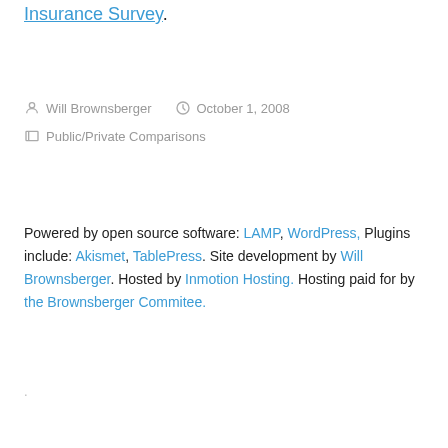Insurance Survey.
Will Brownsberger   October 1, 2008
Public/Private Comparisons
Powered by open source software: LAMP, WordPress, Plugins include: Akismet, TablePress. Site development by Will Brownsberger. Hosted by Inmotion Hosting. Hosting paid for by the Brownsberger Commitee.
.